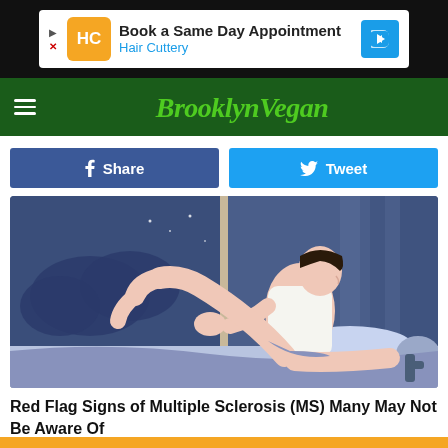[Figure (screenshot): Advertisement banner for Hair Cuttery - Book a Same Day Appointment with HC logo and navigation arrow]
[Figure (logo): BrooklynVegan website logo in green stylized text on dark green navigation bar]
Share
Tweet
[Figure (illustration): Illustration of a man lying in bed at night, sitting up and looking out window, with legs raised, in a blue-toned bedroom scene]
Red Flag Signs of Multiple Sclerosis (MS) Many May Not Be Aware Of
Multiple Sclerosis | Search Ads